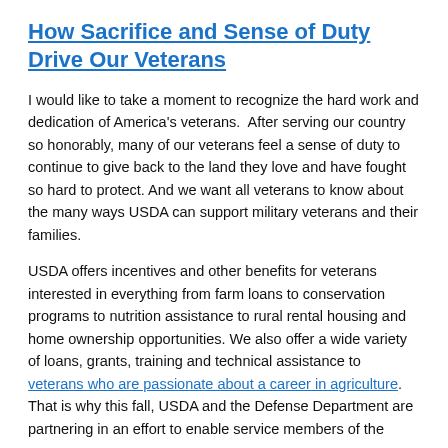How Sacrifice and Sense of Duty Drive Our Veterans
I would like to take a moment to recognize the hard work and dedication of America's veterans.  After serving our country so honorably, many of our veterans feel a sense of duty to continue to give back to the land they love and have fought so hard to protect. And we want all veterans to know about the many ways USDA can support military veterans and their families.
USDA offers incentives and other benefits for veterans interested in everything from farm loans to conservation programs to nutrition assistance to rural rental housing and home ownership opportunities. We also offer a wide variety of loans, grants, training and technical assistance to veterans who are passionate about a career in agriculture. That is why this fall, USDA and the Defense Department are partnering in an effort to enable service members of the...